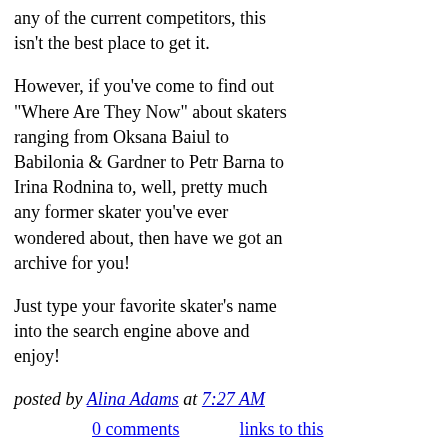any of the current competitors, this isn't the best place to get it.
However, if you've come to find out "Where Are They Now" about skaters ranging from Oksana Baiul to Babilonia & Gardner to Petr Barna to Irina Rodnina to, well, pretty much any former skater you've ever wondered about, then have we got an archive for you!
Just type your favorite skater's name into the search engine above and enjoy!
posted by Alina Adams at 7:27 AM
0 comments    links to this post
Wednesday, March 11, 2009
NAVKA NUPTIALS?
Tatiana Navka is getting married.